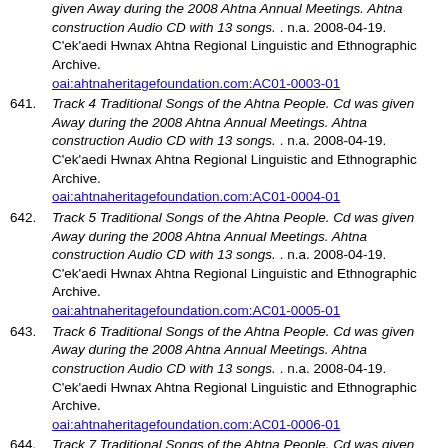(partial) given Away during the 2008 Ahtna Annual Meetings. Ahtna construction Audio CD with 13 songs. . n.a. 2008-04-19. C'ek'aedi Hwnax Ahtna Regional Linguistic and Ethnographic Archive. oai:ahtnaheritagefoundation.com:AC01-0003-01
641. Track 4 Traditional Songs of the Ahtna People. Cd was given Away during the 2008 Ahtna Annual Meetings. Ahtna construction Audio CD with 13 songs. . n.a. 2008-04-19. C'ek'aedi Hwnax Ahtna Regional Linguistic and Ethnographic Archive. oai:ahtnaheritagefoundation.com:AC01-0004-01
642. Track 5 Traditional Songs of the Ahtna People. Cd was given Away during the 2008 Ahtna Annual Meetings. Ahtna construction Audio CD with 13 songs. . n.a. 2008-04-19. C'ek'aedi Hwnax Ahtna Regional Linguistic and Ethnographic Archive. oai:ahtnaheritagefoundation.com:AC01-0005-01
643. Track 6 Traditional Songs of the Ahtna People. Cd was given Away during the 2008 Ahtna Annual Meetings. Ahtna construction Audio CD with 13 songs. . n.a. 2008-04-19. C'ek'aedi Hwnax Ahtna Regional Linguistic and Ethnographic Archive. oai:ahtnaheritagefoundation.com:AC01-0006-01
644. Track 7 Traditional Songs of the Ahtna People. Cd was given Away during the 2008 Ahtna Annual Meetings. Ahtna construction Audio CD with 13 songs.. n.a. 2008-04-19. C'ek'aedi Hwnax Ahtna Regional Linguistic and Ethnographic Archive. oai:ahtnaheritagefoundation.com:AC01-0007-01